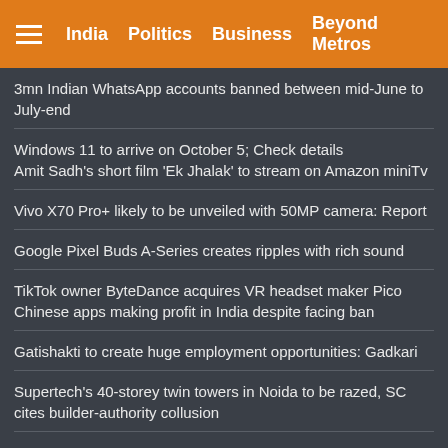India | Politics | Business | Beyond Metros
3mn Indian WhatsApp accounts banned between mid-June to July-end
Windows 11 to arrive on October 5; Check details
Amit Sadh's short film 'Ek Jhalak' to stream on Amazon miniTv
Vivo X70 Pro+ likely to be unveiled with 50MP camera: Report
Google Pixel Buds A-Series creates ripples with rich sound
TikTok owner ByteDance acquires VR headset maker Pico
Chinese apps making profit in India despite facing ban
Gatishakti to create huge employment opportunities: Gadkari
Supertech's 40-storey twin towers in Noida to be razed, SC cites builder-authority collusion